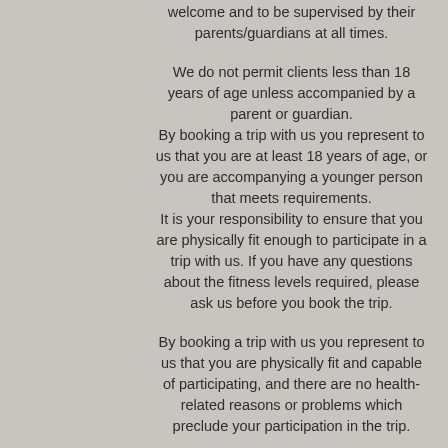welcome and to be supervised by their parents/guardians at all times.
We do not permit clients less than 18 years of age unless accompanied by a parent or guardian. By booking a trip with us you represent to us that you are at least 18 years of age, or you are accompanying a younger person that meets requirements. It is your responsibility to ensure that you are physically fit enough to participate in a trip with us. If you have any questions about the fitness levels required, please ask us before you book the trip.
By booking a trip with us you represent to us that you are physically fit and capable of participating, and there are no health-related reasons or problems which preclude your participation in the trip.